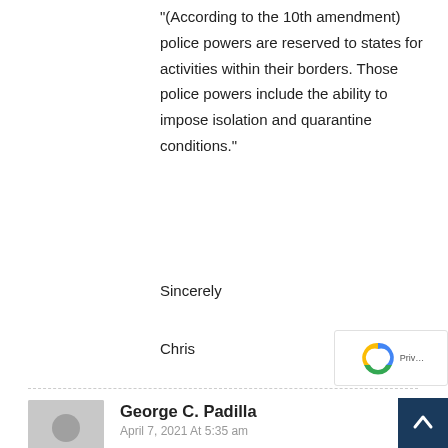“(According to the 10th amendment) police powers are reserved to states for activities within their borders. Those police powers include the ability to impose isolation and quarantine conditions.”
Sincerely
Chris
George C. Padilla
April 7, 2021 At 5:35 am
@ Christopher Matthew Spencer
You really ought to take the 5 minutes or less it would take to read the entire article before wasting your time writing out such an unnecessary ou…
6th paragraph states: